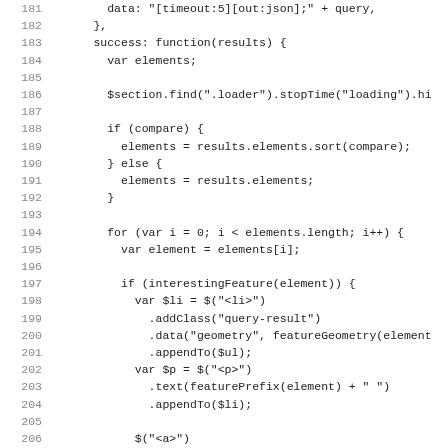Code listing lines 181-212 showing JavaScript function with jQuery operations including sort, for-loop, interestingFeature check, DOM element creation and manipulation